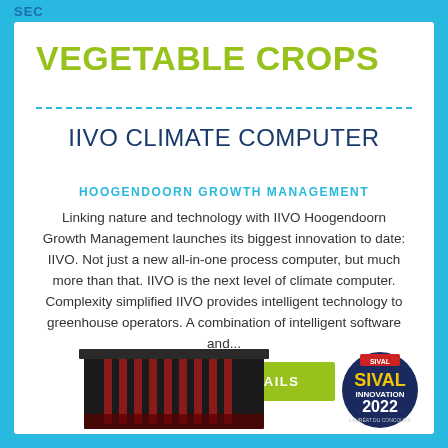SECTORS
VEGETABLE CROPS
IIVO CLIMATE COMPUTER
HOOGENDOORN GROWTH MANAGEMENT
Linking nature and technology with IIVO Hoogendoorn Growth Management launches its biggest innovation to date: IIVO. Not just a new all-in-one process computer, but much more than that. IIVO is the next level of climate computer. Complexity simplified IIVO provides intelligent technology to greenhouse operators. A combination of intelligent software and...
SEE MORE DETAILS
[Figure (photo): A dark industrial machine/greenhouse unit and a Sival Innovation 2022 award badge]